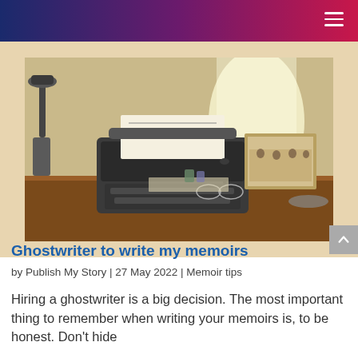[Figure (photo): Vintage typewriter on a wooden desk with paper loaded, alongside a framed photograph, ink pens, glasses, and other antique desk items.]
Ghostwriter to write my memoirs
by Publish My Story | 27 May 2022 | Memoir tips
Hiring a ghostwriter is a big decision. The most important thing to remember when writing your memoirs is, to be honest. Don't hide